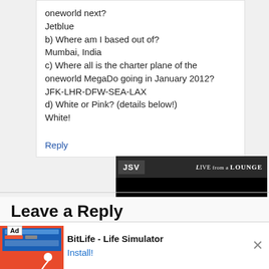oneworld next? Jetblue
b) Where am I based out of?
Mumbai, India
c) Where all is the charter plane of the oneworld MegaDo going in January 2012?
JFK-LHR-DFW-SEA-LAX
d) White or Pink? (details below!)
White!
Reply
[Figure (screenshot): JSV video player overlay with 'LIVE from a LOUNGE' branding on dark header, black video area below]
Leave a Reply
Your email address will not be published. Required
[Figure (screenshot): BitLife - Life Simulator app advertisement with orange background, Install! button]